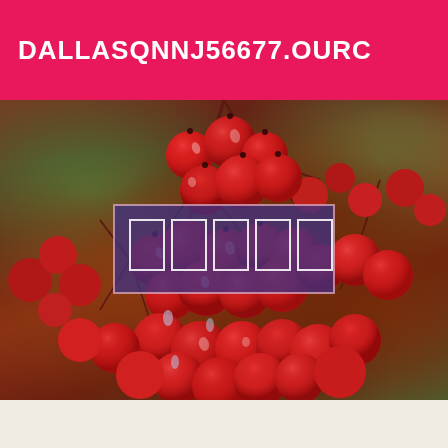DALLASQNNJ56677.OURC
[Figure (photo): Close-up photo of clusters of red berries (viburnum or similar) with water droplets, on dark reddish-brown branches, with blurred autumn foliage background. In the center of the image is a semi-transparent dark purple/indigo rectangular overlay containing five white outlined rectangles in a row.]